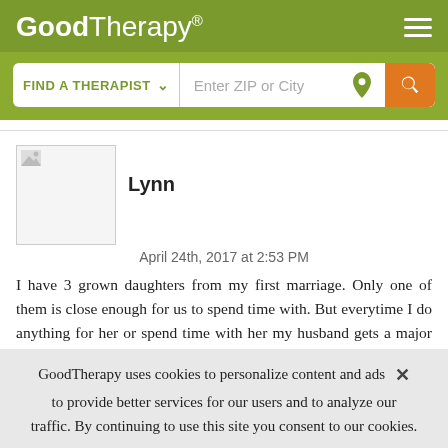GoodTherapy®
FIND A THERAPIST   Enter ZIP or City
Lynn
April 24th, 2017 at 2:53 PM
I have 3 grown daughters from my first marriage. Only one of them is close enough for us to spend time with. But everytime I do anything for her or spend time with her my husband gets a major hateful attitude toward me. He too has grown sons and he does more for them than I do for my kuds but I never say anything or get
GoodTherapy uses cookies to personalize content and ads to provide better services for our users and to analyze our traffic. By continuing to use this site you consent to our cookies.